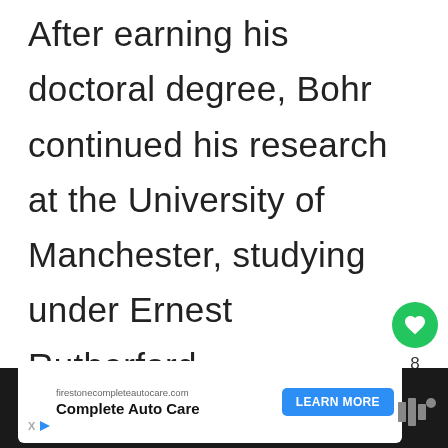After earning his doctoral degree, Bohr continued his research at the University of Manchester, studying under Ernest Rutherford.
[Figure (other): Like button (heart icon, green circle), count of 8, and share button]
[Figure (other): What's Next card showing Butterflies Facts]
[Figure (other): Advertisement bar for firestonecompleteautocare.com Complete Auto Care with Learn More button and logo]